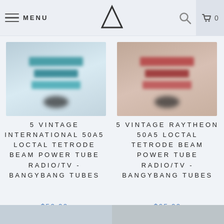MENU | Logo | Search | Cart 0
[Figure (photo): Product photo of 5 Vintage International 50A5 Loctal Tetrode Beam Power Tube Radio/TV - BangYBang Tubes, teal/blue tones]
5 VINTAGE INTERNATIONAL 50A5 LOCTAL TETRODE BEAM POWER TUBE RADIO/TV - BANGYBANG TUBES
$50.00
[Figure (photo): Product photo of 5 Vintage Raytheon 50A5 Loctal Tetrode Beam Power Tube Radio/TV - BangYBang Tubes, reddish/terracotta tones]
5 VINTAGE RAYTHEON 50A5 LOCTAL TETRODE BEAM POWER TUBE RADIO/TV - BANGYBANG TUBES
$65.00